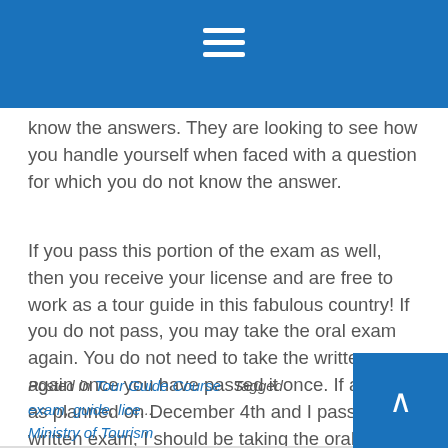know the answers. They are looking to see how you handle yourself when faced with a question for which you do not know the answer.
If you pass this portion of the exam as well, then you receive your license and are free to work as a tour guide in this fabulous country! If you do not pass, you may take the oral exam again. You do not need to take the written exam again once you have passed it once. If all goes as planned on December 4th and I pass the written exam, I should be taking the oral exam sometime in January, and then will hopefully be licensed and ready to embark on my new career. You know I'll be keeping you posted!
Posted in Tour Guide Course   Tagged exam, guide, lice... Ministry of Tourism